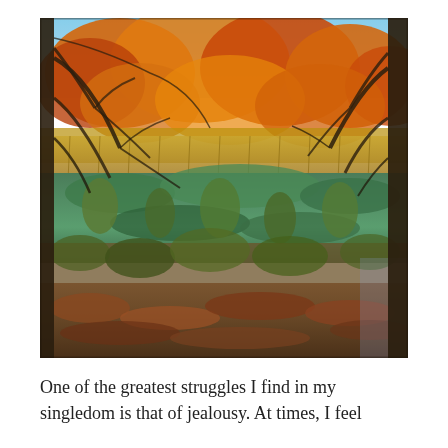[Figure (photo): Autumn wetland scene with orange and golden foliage trees in the background, a green algae-covered marsh or swamp in the middle ground, bare dark tree branches framing the scene on both sides, and fallen autumn leaves on the ground in the foreground.]
One of the greatest struggles I find in my singledom is that of jealousy. At times, I feel